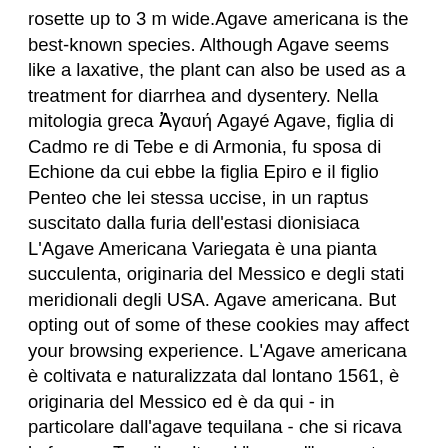rosette up to 3 m wide.Agave americana is the best-known species. Although Agave seems like a laxative, the plant can also be used as a treatment for diarrhea and dysentery. Nella mitologia greca Ἀγαυή Agayé Agave, figlia di Cadmo re di Tebe e di Armonia, fu sposa di Echione da cui ebbe la figlia Epiro e il figlio Penteo che lei stessa uccise, in un raptus suscitato dalla furia dell'estasi dionisiaca L'Agave Americana Variegata è una pianta succulenta, originaria del Messico e degli stati meridionali degli USA. Agave americana. But opting out of some of these cookies may affect your browsing experience. L'Agave americana è coltivata e naturalizzata dal lontano 1561, è originaria del Messico ed è da qui - in particolare dall'agave tequilana - che si ricava la famosa Tequila, oltre al "mezcal", un noto liquido allucinogeno. An extract of the leaves or the roots is used to make soap. The leaves from both A. americana and Agave sisalana are used to make woven mats and also to make paper. Agave Americana is the source of pita fiber, and is used as a fiber plant in Mexico, the West Indies, and southern Europe. Caution is advised when the plant is collected and handled due to the sharp blades at the tip of the leaves. Your email address will not be published. Pure alkaloid extracts: are